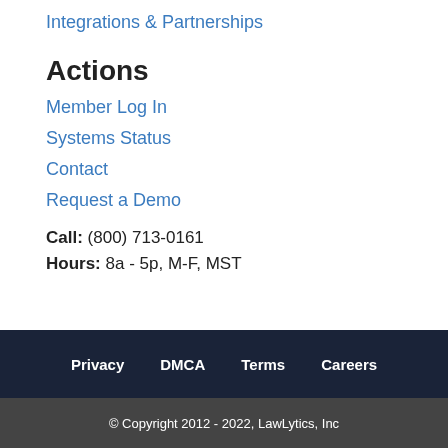Integrations & Partnerships
Actions
Member Log In
Systems Status
Contact
Request a Demo
Call: (800) 713-0161
Hours: 8a - 5p, M-F, MST
Privacy   DMCA   Terms   Careers
© Copyright 2012 - 2022, LawLytics, Inc